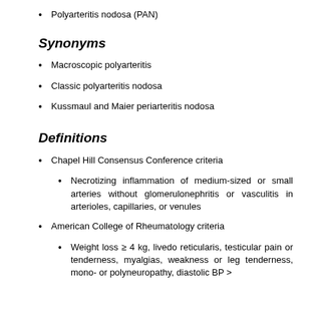Polyarteritis nodosa (PAN)
Synonyms
Macroscopic polyarteritis
Classic polyarteritis nodosa
Kussmaul and Maier periarteritis nodosa
Definitions
Chapel Hill Consensus Conference criteria
Necrotizing inflammation of medium-sized or small arteries without glomerulonephritis or vasculitis in arterioles, capillaries, or venules
American College of Rheumatology criteria
Weight loss ≥ 4 kg, livedo reticularis, testicular pain or tenderness, myalgias, weakness or leg tenderness, mono- or polyneuropathy, diastolic BP >